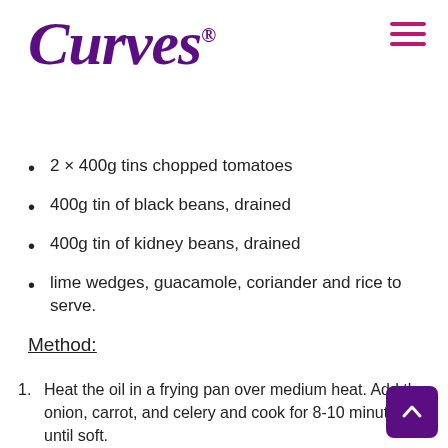[Figure (logo): Curves brand logo in purple cursive/script font]
2 × 400g tins chopped tomatoes
400g tin of black beans, drained
400g tin of kidney beans, drained
lime wedges, guacamole, coriander and rice to serve.
Method:
Heat the oil in a frying pan over medium heat. Add the onion, carrot, and celery and cook for 8-10 minutes until soft.
Crush in the garlic, add the sweet potato and cook for a further minute.
Add all the spices, oregano and tomato puree and cook